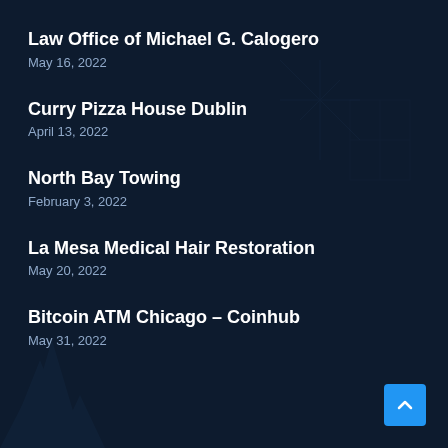Law Office of Michael G. Calogero
May 16, 2022
Curry Pizza House Dublin
April 13, 2022
North Bay Towing
February 3, 2022
La Mesa Medical Hair Restoration
May 20, 2022
Bitcoin ATM Chicago – Coinhub
May 31, 2022